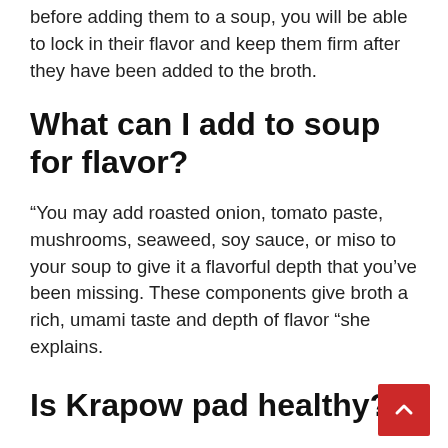before adding them to a soup, you will be able to lock in their flavor and keep them firm after they have been added to the broth.
What can I add to soup for flavor?
“You may add roasted onion, tomato paste, mushrooms, seaweed, soy sauce, or miso to your soup to give it a flavorful depth that you’ve been missing. These components give broth a rich, umami taste and depth of flavor “she explains.
Is Krapow pad healthy?